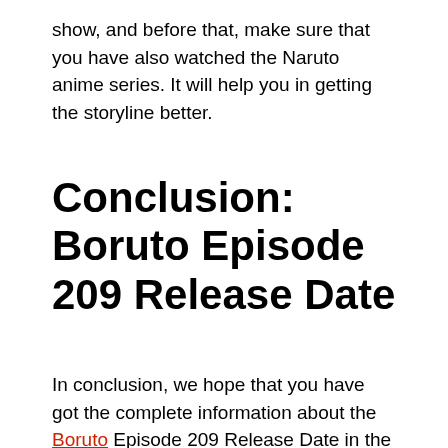show, and before that, make sure that you have also watched the Naruto anime series. It will help you in getting the storyline better.
Conclusion: Boruto Episode 209 Release Date
In conclusion, we hope that you have got the complete information about the Boruto Episode 209 Release Date in the USA, the UK, India, as well as in other regions, how you can watch the upcoming new episode of this amazing anime, and much more. If you have any doubts or queries related to the release of the new episode of Boruto, you can ask us in the comment section below. We are here to help you in solving all your questions and doubts.